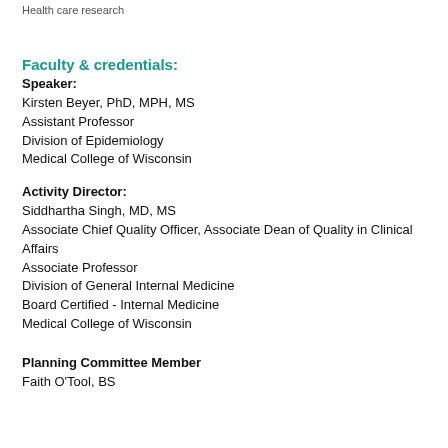Health care research
Faculty & credentials:
Speaker:
Kirsten Beyer, PhD, MPH, MS
Assistant Professor
Division of Epidemiology
Medical College of Wisconsin
Activity Director:
Siddhartha Singh, MD, MS
Associate Chief Quality Officer, Associate Dean of Quality in Clinical Affairs
Associate Professor
Division of General Internal Medicine
Board Certified - Internal Medicine
Medical College of Wisconsin
Planning Committee Member
Faith O'Tool, BS